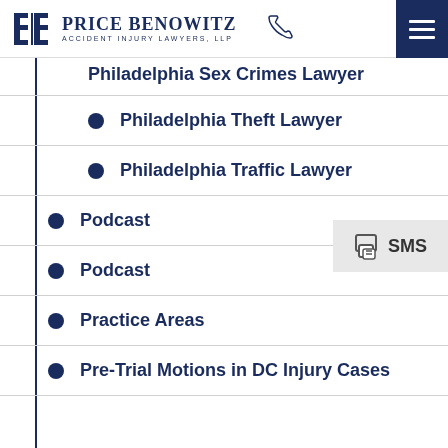Price Benowitz Accident Injury Lawyers, LLP
Philadelphia Sex Crimes Lawyer
Philadelphia Theft Lawyer
Philadelphia Traffic Lawyer
Podcast
Podcast
Practice Areas
Pre-Trial Motions in DC Injury Cases